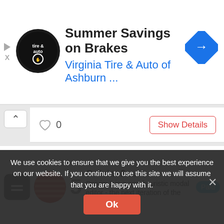[Figure (screenshot): Advertisement banner for Virginia Tire & Auto of Ashburn with circular logo, title 'Summer Savings on Brakes', subtitle 'Virginia Tire & Auto of Ashburn ...', and blue diamond navigation arrow icon. Small play and X icons on left edge.]
[Figure (screenshot): Partial card showing heart icon with count 0 and 'Show Details' button, with chevron up arrow on left.]
[Figure (screenshot): SlickEdit app card with green SE logo, 'Paid' badge in light blue, title 'SlickEdit', description text, heart count 0, and 'Show Details' button.]
SlickEdit
SlickEdit is a cross-platform, multi-language code editor that gives programmers the ability to code in over 40 languages on 7...
We use cookies to ensure that we give you the best experience on our website. If you continue to use this site we will assume that you are happy with it.
[Figure (screenshot): Bottom partial Onivim 2 card with icons, title 'Onivim 2...', description 'Onivim 2 is a neo-futuristic modal editor - the next iteration of the Onivim', and Paid badge. Cookie consent bar overlays with Ok button.]